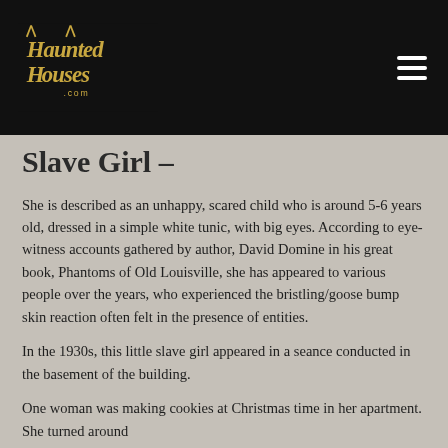[Figure (logo): HauntedHouses.com logo in gold/yellow decorative font on black background]
Slave Girl –
She is described as an unhappy, scared child who is around 5-6 years old, dressed in a simple white tunic, with big eyes. According to eye-witness accounts gathered by author, David Domine in his great book, Phantoms of Old Louisville, she has appeared to various people over the years, who experienced the bristling/goose bump skin reaction often felt in the presence of entities.
In the 1930s, this little slave girl appeared in a seance conducted in the basement of the building.
One woman was making cookies at Christmas time in her apartment. She turned around